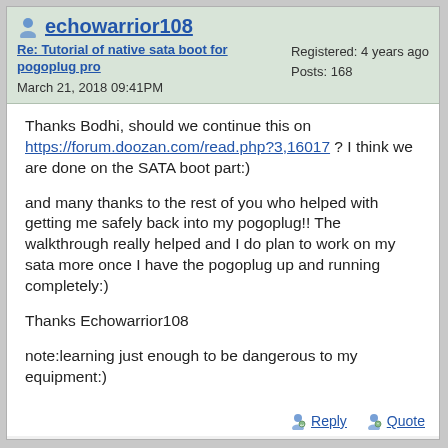echowarrior108
Re: Tutorial of native sata boot for pogoplug pro
March 21, 2018 09:41PM
Registered: 4 years ago
Posts: 168
Thanks Bodhi, should we continue this on https://forum.doozan.com/read.php?3,16017 ? I think we are done on the SATA boot part:)
and many thanks to the rest of you who helped with getting me safely back into my pogoplug!! The walkthrough really helped and I do plan to work on my sata more once I have the pogoplug up and running completely:)
Thanks Echowarrior108
note:learning just enough to be dangerous to my equipment:)
Reply   Quote